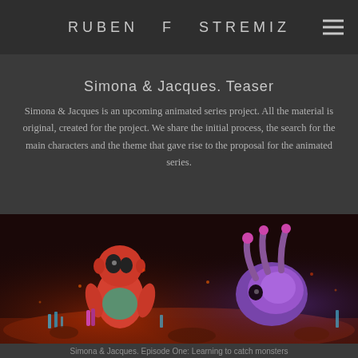RUBEN F STREMIZ
Simona & Jacques. Teaser
Simona & Jacques is an upcoming animated series project. All the material is original, created for the project. We share the initial process, the search for the main characters and the theme that gave rise to the proposal for the animated series.
[Figure (photo): Stop-motion or CGI animated characters from Simona & Jacques — a red humanoid character on the left and a purple snail-like creature on the right, set against a dark reddish background.]
Simona & Jacques. Episode One: Learning to catch monsters